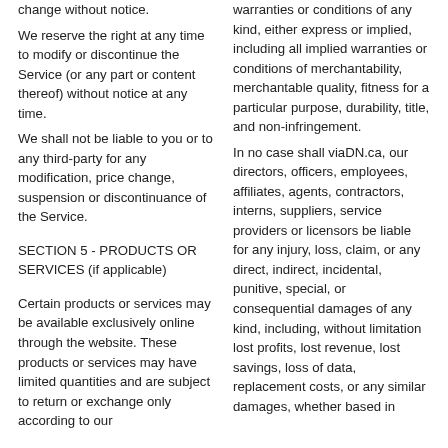change without notice. We reserve the right at any time to modify or discontinue the Service (or any part or content thereof) without notice at any time. We shall not be liable to you or to any third-party for any modification, price change, suspension or discontinuance of the Service.
SECTION 5 - PRODUCTS OR SERVICES (if applicable)
Certain products or services may be available exclusively online through the website. These products or services may have limited quantities and are subject to return or exchange only according to our
warranties or conditions of any kind, either express or implied, including all implied warranties or conditions of merchantability, merchantable quality, fitness for a particular purpose, durability, title, and non-infringement. In no case shall viaDN.ca, our directors, officers, employees, affiliates, agents, contractors, interns, suppliers, service providers or licensors be liable for any injury, loss, claim, or any direct, indirect, incidental, punitive, special, or consequential damages of any kind, including, without limitation lost profits, lost revenue, lost savings, loss of data, replacement costs, or any similar damages, whether based in